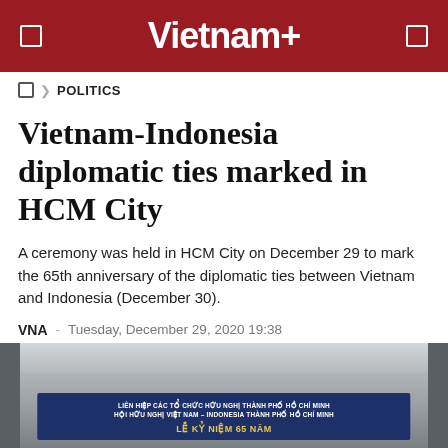Vietnam+
POLITICS
Vietnam-Indonesia diplomatic ties marked in HCM City
A ceremony was held in HCM City on December 29 to mark the 65th anniversary of the diplomatic ties between Vietnam and Indonesia (December 30).
VNA - Tuesday, December 29, 2020 19:38
[Figure (photo): Photo of a banner at the ceremony reading 'LIEN HIEP CAC TO CHUC HUU NGHI THANH PHO HO CHI MINH / HOI HUU NGHI VIET NAM – INDONESIA THANH PHO HO CHI MINH / LE KY NIEM 65 NAM']